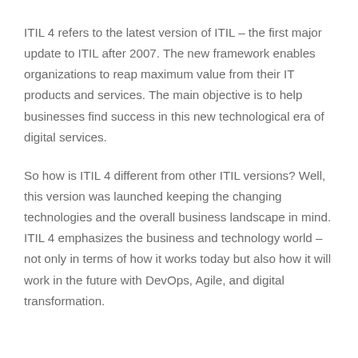ITIL 4 refers to the latest version of ITIL – the first major update to ITIL after 2007. The new framework enables organizations to reap maximum value from their IT products and services. The main objective is to help businesses find success in this new technological era of digital services.
So how is ITIL 4 different from other ITIL versions? Well, this version was launched keeping the changing technologies and the overall business landscape in mind. ITIL 4 emphasizes the business and technology world – not only in terms of how it works today but also how it will work in the future with DevOps, Agile, and digital transformation.